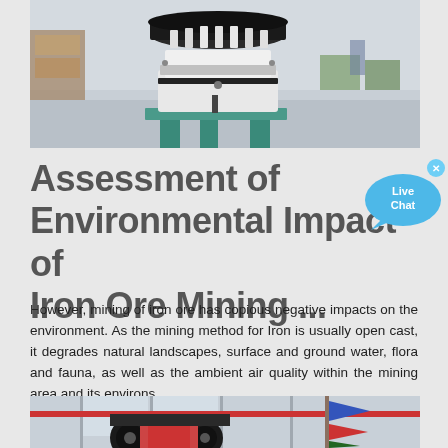[Figure (photo): Industrial cone crusher machine in a warehouse/factory setting]
Assessment of Environmental Impact of Iron Ore Mining ...
However, mining of iron ore has copious negative impacts on the environment. As the mining method for Iron is usually open cast, it degrades natural landscapes, surface and ground water, flora and fauna, as well as the ambient air quality within the mining area and its environs.
[Figure (photo): Industrial jaw crusher machine in a factory setting with colorful flags in the background]